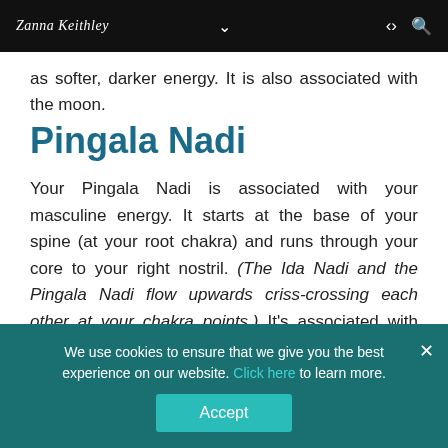Zanna Keithley
as softer, darker energy. It is also associated with the moon.
Pingala Nadi
Your Pingala Nadi is associated with your masculine energy. It starts at the base of your spine (at your root chakra) and runs through your core to your right nostril. (The Ida Nadi and the Pingala Nadi flow upwards criss-crossing each other at your chakra points.) It's associated with left-brain dominance and what you might describe as stronger, lighter energy. As the Ida
We use cookies to ensure that we give you the best experience on our website. Click here to learn more.
Accept